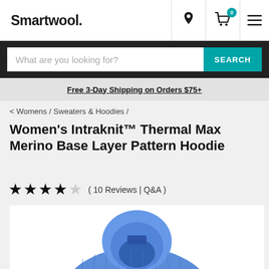Smartwool.
What are you looking for? SEARCH
Free 3-Day Shipping on Orders $75+
< Womens / Sweaters & Hoodies /
Women's Intraknit™ Thermal Max Merino Base Layer Pattern Hoodie
( 10 Reviews | Q&A )
[Figure (photo): Blue knit hoodie product photo showing the back/top of a Women's Intraknit Thermal Max Merino Base Layer Pattern Hoodie in blue]